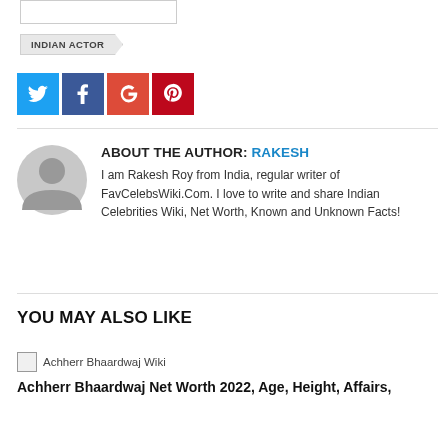[Figure (other): Search input box (empty)]
INDIAN ACTOR
[Figure (infographic): Social share buttons: Twitter (blue), Facebook (dark blue), Google+ (red-orange), Pinterest (dark red)]
ABOUT THE AUTHOR: RAKESH
I am Rakesh Roy from India, regular writer of FavCelebsWiki.Com. I love to write and share Indian Celebrities Wiki, Net Worth, Known and Unknown Facts!
YOU MAY ALSO LIKE
[Figure (photo): Thumbnail image placeholder for Achherr Bhaardwaj Wiki article]
Achherr Bhaardwaj Net Worth 2022, Age, Height, Affairs,